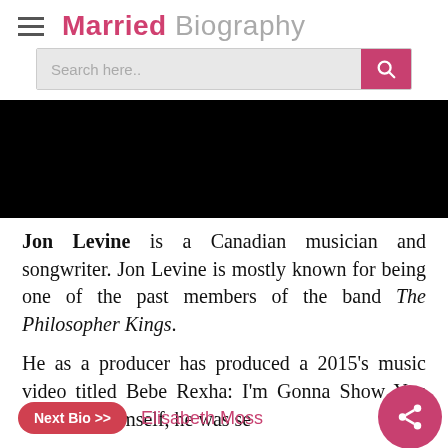Married Biography
[Figure (screenshot): Search bar with pink search button]
[Figure (photo): Black hero image (photo of Jon Levine)]
Jon Levine is a Canadian musician and songwriter. Jon Levine is mostly known for being one of the past members of the band The Philosopher Kings.
He as a producer has produced a 2015’s music video titled Bebe Rexha: I’m Gonna Show You Crazy. As himself, he was se…
Next Bio >> Elisabeth Moss